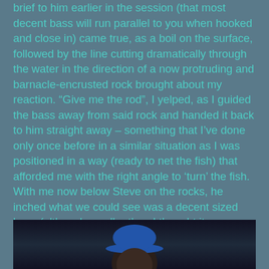brief to him earlier in the session (that most decent bass will run parallel to you when hooked and close in) came true, as a boil on the surface, followed by the line cutting dramatically through the water in the direction of a now protruding and barnacle-encrusted rock brought about my reaction. “Give me the rod”, I yelped, as I guided the bass away from said rock and handed it back to him straight away – something that I’ve done only once before in a similar situation as I was positioned in a way (ready to net the fish) that afforded me with the right angle to ‘turn’ the fish. With me now below Steve on the rocks, he inched what we could see was a decent sized bass (although smaller than I thought it was going to be) into my waiting net – a real joint effort!
[Figure (photo): Partial photo at bottom of page showing a person wearing a blue hat, dark background, only top portion of head visible]